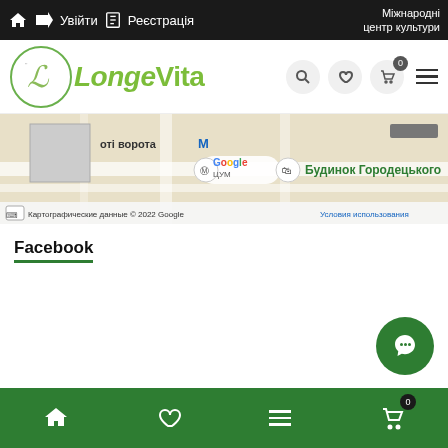Увійти  Реєстрація  Міжнародні центр культури
[Figure (logo): LongeVita logo with circular green border containing stylized L, next to green LongeVita text]
[Figure (map): Google Maps screenshot showing street map with labels: оті ворота М, Google, ЦУМ, Будинок Городецького, Картографические данные © 2022 Google, Условия использования]
Facebook
[Figure (other): Green circular chat/messenger button]
[Figure (other): Dark scroll-to-top button with up arrow]
Home  Heart/Wishlist  Menu  Cart (0)